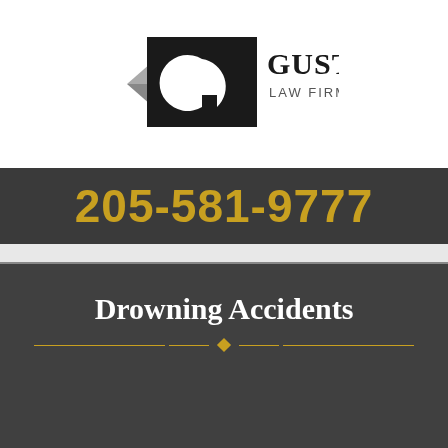[Figure (logo): Guster Law Firm, LLC logo with stylized G in black rectangle and gray triangular accents]
205-581-9777
Drowning Accidents
If you have been injured because of someone else's negligence, you need Guster La[w Firm] on your [side].